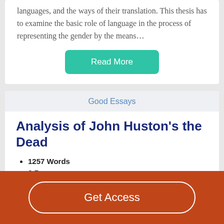languages, and the ways of their translation. This thesis has to examine the basic role of language in the process of representing the gender by the means…
Read More
Good Essays
Analysis of John Huston's the Dead
1257 Words
6 Pages
in an epiphany. It's through partaking in Gabriel's thoughts by the use of free indirect discourse that Joyce unfolds the story
Get Access